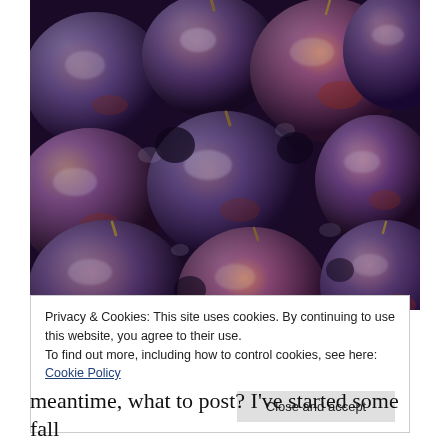[Figure (photo): Close-up photograph of dark purple/blue plums piled together, showing their waxy bloom coating and red-brown patches, with small stems visible]
Privacy & Cookies: This site uses cookies. By continuing to use this website, you agree to their use.
To find out more, including how to control cookies, see here:
Cookie Policy
Close and accept
meantime, what to post? I've started some fall